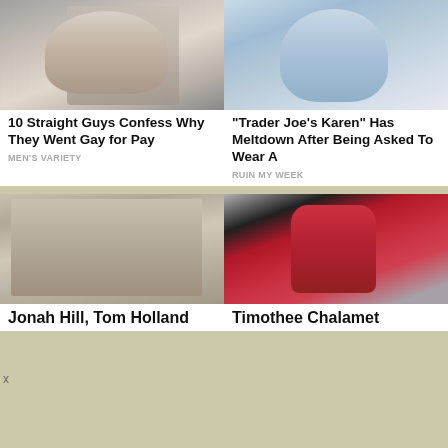[Figure (photo): Shirtless muscular man drinking from bottle in gym setting]
10 Straight Guys Confess Why They Went Gay for Pay
MEN'S VARIETY
[Figure (photo): Woman in blue top looking at camera in store/market setting]
"Trader Joe's Karen" Has Meltdown After Being Asked To Wear A
RUIN MY WEEK
[Figure (photo): Group of men in underwear/casual clothes partying in a room]
Jonah Hill, Tom Holland
[Figure (photo): Person in red outfit with arms outstretched surrounded by crowd]
Timothee Chalamet